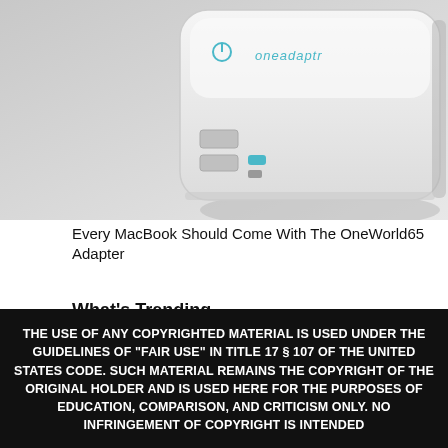[Figure (photo): Close-up photo of a white OneAdaptr (oneadaptr branded) multi-port USB charging adapter/hub device on a gray surface, showing USB ports and a USB-C port on the front face.]
Every MacBook Should Come With The OneWorld65 Adapter
What's Trending
THE USE OF ANY COPYRIGHTED MATERIAL IS USED UNDER THE GUIDELINES OF "FAIR USE" IN TITLE 17 § 107 OF THE UNITED STATES CODE. SUCH MATERIAL REMAINS THE COPYRIGHT OF THE ORIGINAL HOLDER AND IS USED HERE FOR THE PURPOSES OF EDUCATION, COMPARISON, AND CRITICISM ONLY. NO INFRINGEMENT OF COPYRIGHT IS INTENDED